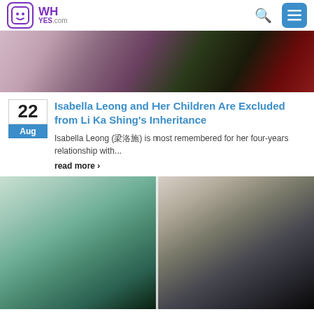WHYES.com
[Figure (photo): Partial photo of a woman in pink/mauve top with red roses in background]
Isabella Leong and Her Children Are Excluded from Li Ka Shing's Inheritance
Isabella Leong (梁洛施) is most remembered for her four-years relationship with...
read more ›
[Figure (photo): Two side-by-side photos: left shows a young couple leaning together indoors; right shows a couple in an embrace facing each other]